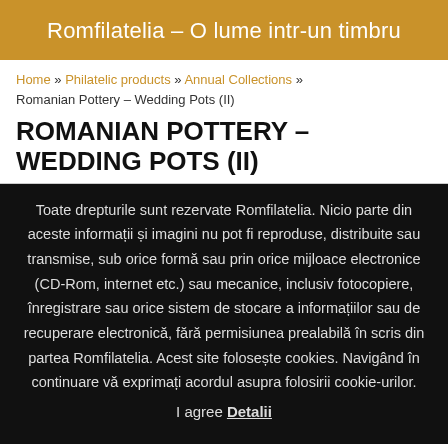Romfilatelia – O lume intr-un timbru
Home » Philatelic products » Annual Collections » Romanian Pottery – Wedding Pots (II)
ROMANIAN POTTERY – WEDDING POTS (II)
Toate drepturile sunt rezervate Romfilatelia. Nicio parte din aceste informații și imagini nu pot fi reproduse, distribuite sau transmise, sub orice formă sau prin orice mijloace electronice (CD-Rom, internet etc.) sau mecanice, inclusiv fotocopiere, înregistrare sau orice sistem de stocare a informațiilor sau de recuperare electronică, fără permisiunea prealabilă în scris din partea Romfilatelia. Acest site folosește cookies. Navigând în continuare vă exprimați acordul asupra folosirii cookie-urilor.
I agree Detalii